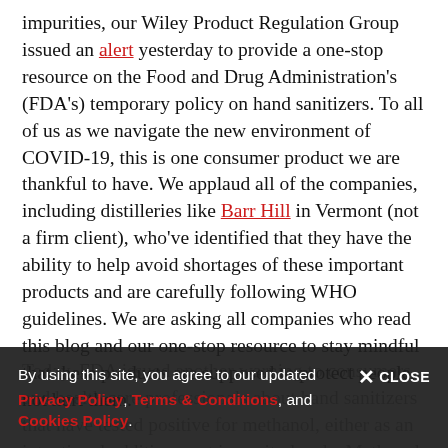impurities, our Wiley Product Regulation Group issued an alert yesterday to provide a one-stop resource on the Food and Drug Administration's (FDA's) temporary policy on hand sanitizers. To all of us as we navigate the new environment of COVID-19, this is one consumer product we are thankful to have. We applaud all of the companies, including distilleries like Barr Hill in Vermont (not a firm client), who've identified that they have the ability to help avoid shortages of these important products and are carefully following WHO guidelines. We are asking all companies who read this blog and our one-stop resource to stay mindful that these products are supposed to protect people, not hurt them.
Today, FDA issued another warning to consumers and health care professionals about hand sanitizers that have tested positive for methanol, either as an intentional additive or at impurity levels. Methanol is NOT Ethanol. Methanol, or wood alcohol, is a substance
By using this site, you agree to our updated × CLOSE Privacy Policy, Terms & Conditions, and Cookies Policy.